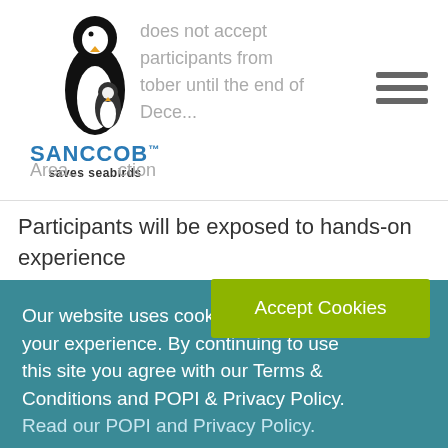[Figure (logo): SANCCOB saves seabirds logo with penguin illustration]
does not accept participants from tober until the end of Dece...
Area... ...ction
Participants will be exposed to hands-on experience
Our website uses cookies to improve your experience. By continuing to use this site you agree with our Terms & Conditions and POPI & Privacy Policy. Read our POPI and Privacy Policy.
Accept Cookies